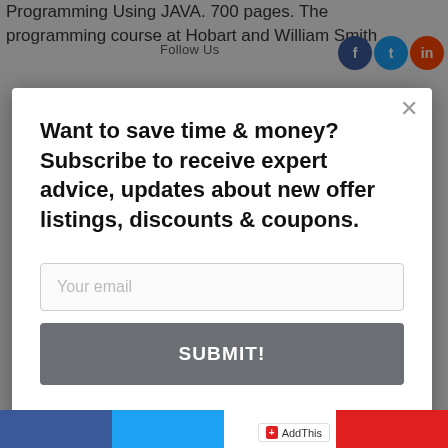Programming Using JAVA. 700 pages. The programming course at Hobart and William Smith
[Figure (screenshot): Modal popup overlay with subscription form on a webpage about Java programming. Contains heading, email input, and submit button. Background shows social sharing icons (Facebook, Twitter, Reddit) and partial page text.]
Want to save time & money? Subscribe to receive expert advice, updates about new offer listings, discounts & coupons.
Your email
SUBMIT!
AddThis